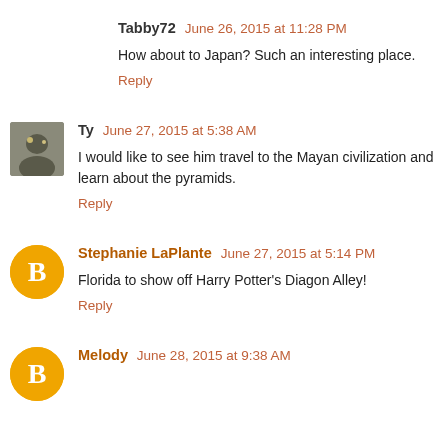Tabby72 June 26, 2015 at 11:28 PM
How about to Japan? Such an interesting place.
Reply
Ty June 27, 2015 at 5:38 AM
I would like to see him travel to the Mayan civilization and learn about the pyramids.
Reply
Stephanie LaPlante June 27, 2015 at 5:14 PM
Florida to show off Harry Potter's Diagon Alley!
Reply
Melody June 28, 2015 at 9:38 AM